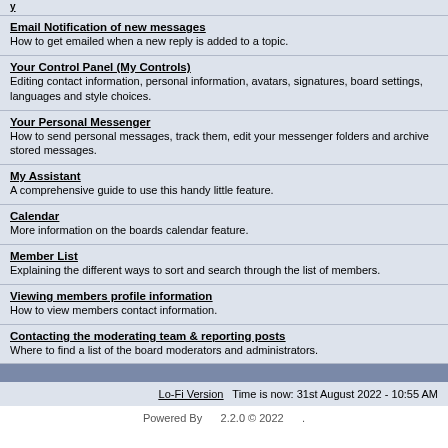Email Notification of new messages
How to get emailed when a new reply is added to a topic.
Your Control Panel (My Controls)
Editing contact information, personal information, avatars, signatures, board settings, languages and style choices.
Your Personal Messenger
How to send personal messages, track them, edit your messenger folders and archive stored messages.
My Assistant
A comprehensive guide to use this handy little feature.
Calendar
More information on the boards calendar feature.
Member List
Explaining the different ways to sort and search through the list of members.
Viewing members profile information
How to view members contact information.
Contacting the moderating team & reporting posts
Where to find a list of the board moderators and administrators.
Lo-Fi Version    Time is now: 31st August 2022 - 10:55 AM
Powered By    2.2.0 © 2022    .